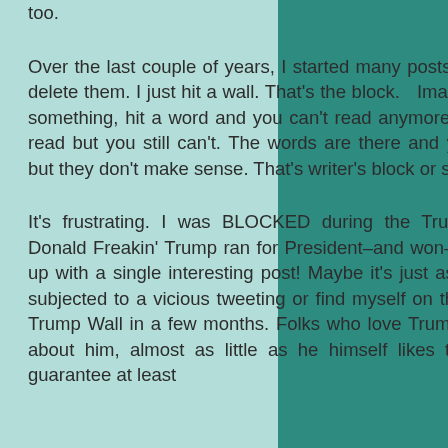too.

Over the last couple of years, I started many posts only to give up and delete them. I just hit a wall. That's the block. Imagine you are reading something, hit a word and you can't read anymore. You know you can read but you still can't. The words are there and you recognize them, but they don't make sense. That's writer's block or something like it.

It's frustrating. I was BLOCKED during the Trump-Clinton election! Donald Freakin' Trump ran for President–and won–and I couldn't come up with a single interesting post! Maybe it's just as well. I'd hate to be subjected to a vicious tweeting or find myself on the wrong side of the Trump Wall in a few months. Folks who love Trump do NOT like jokes about him, almost as little as he himself likes them. (I can almost guarantee at least